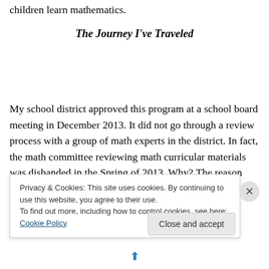children learn mathematics.
The Journey I've Traveled
My school district approved this program at a school board meeting in December 2013. It did not go through a review process with a group of math experts in the district. In fact, the math committee reviewing math curricular materials was disbanded in the Spring of 2013. Why? The reason
Privacy & Cookies: This site uses cookies. By continuing to use this website, you agree to their use.
To find out more, including how to control cookies, see here: Cookie Policy
Close and accept